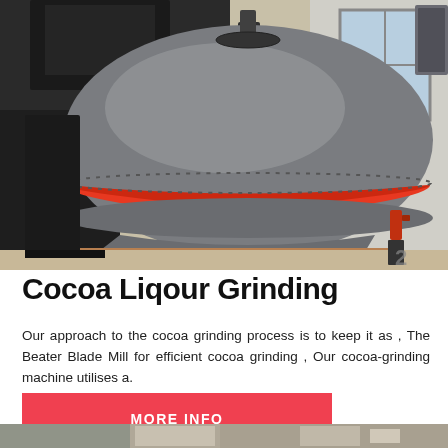[Figure (photo): Large industrial cocoa grinding machine (Beater Blade Mill) with a round gray metal body featuring a red/orange stripe around its equator, sitting on wooden pallets in an industrial facility. A motor is visible on top.]
Cocoa Liqour Grinding
Our approach to the cocoa grinding process is to keep it as , The Beater Blade Mill for efficient cocoa grinding , Our cocoa-grinding machine utilises a.
MORE INFO
[Figure (photo): Partial view of industrial equipment visible at the bottom of the page.]